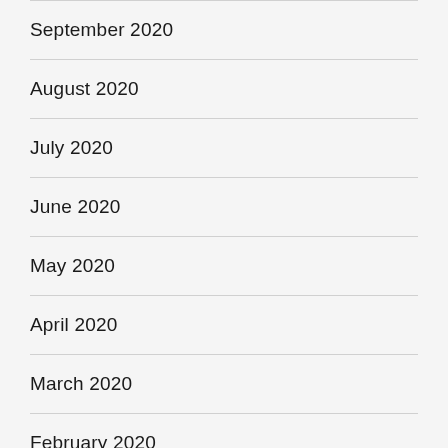September 2020
August 2020
July 2020
June 2020
May 2020
April 2020
March 2020
February 2020